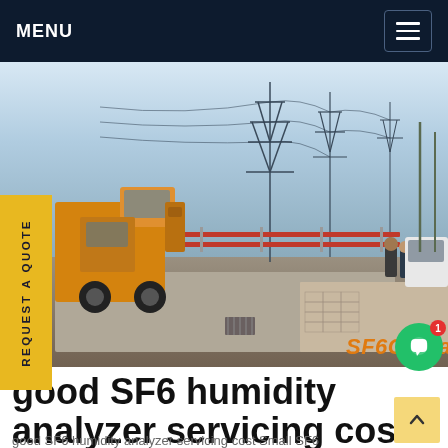MENU
[Figure (photo): Outdoor electrical power substation with high-voltage transmission towers/pylons in the background, a yellow utility truck on the left, and workers visible at the right. Watermark 'SF6China' in orange at lower right.]
REQUEST A QUOTE
good SF6 humidity analyzer servicing cost
good SF6 humidity analyzer servicing cost Small SF6